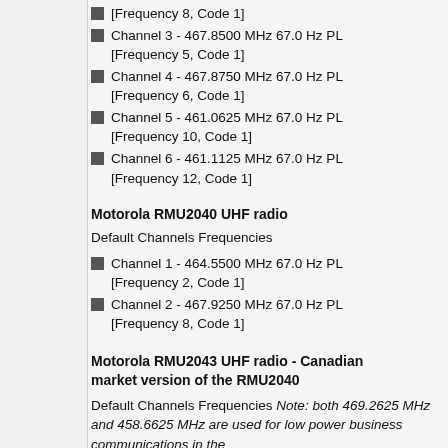[Frequency 8, Code 1]
Channel 3 - 467.8500 MHz 67.0 Hz PL [Frequency 5, Code 1]
Channel 4 - 467.8750 MHz 67.0 Hz PL [Frequency 6, Code 1]
Channel 5 - 461.0625 MHz 67.0 Hz PL [Frequency 10, Code 1]
Channel 6 - 461.1125 MHz 67.0 Hz PL [Frequency 12, Code 1]
Motorola RMU2040 UHF radio
Default Channels Frequencies
Channel 1 - 464.5500 MHz 67.0 Hz PL [Frequency 2, Code 1]
Channel 2 - 467.9250 MHz 67.0 Hz PL [Frequency 8, Code 1]
Motorola RMU2043 UHF radio - Canadian market version of the RMU2040
Default Channels Frequencies Note: both 469.2625 MHz and 458.6625 MHz are used for low power business communications in the